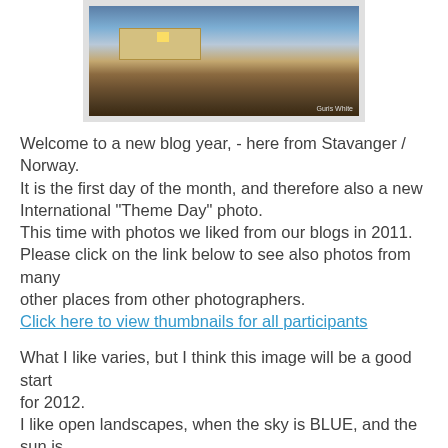[Figure (photo): Winter landscape photo showing a building/farm with snow-covered ground, blue sky, and warm light, credited to Guris White]
Welcome to a new blog year, - here from Stavanger / Norway.
It is the first day of the month, and therefore also a new International "Theme Day" photo.
This time with photos we liked from our blogs in 2011.
Please click on the link below to see also photos from many other places from other photographers.
Click here to view thumbnails for all participants
What I like varies, but I think this image will be a good start for 2012.
I like open landscapes, when the sky is BLUE, and the sun is shining!
Welcome to new followers and to all of you who leave commments.
It means a lot to me.